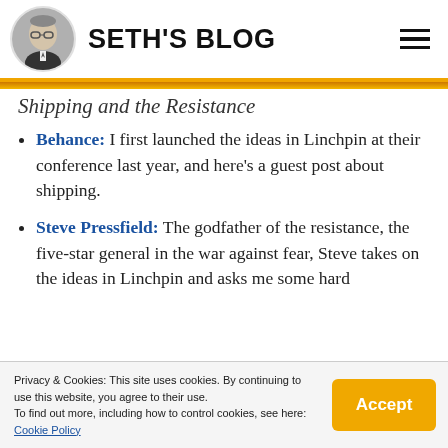SETH'S BLOG
Shipping and the Resistance
Behance: I first launched the ideas in Linchpin at their conference last year, and here's a guest post about shipping.
Steve Pressfield: The godfather of the resistance, the five-star general in the war against fear, Steve takes on the ideas in Linchpin and asks me some hard
Privacy & Cookies: This site uses cookies. By continuing to use this website, you agree to their use. To find out more, including how to control cookies, see here: Cookie Policy